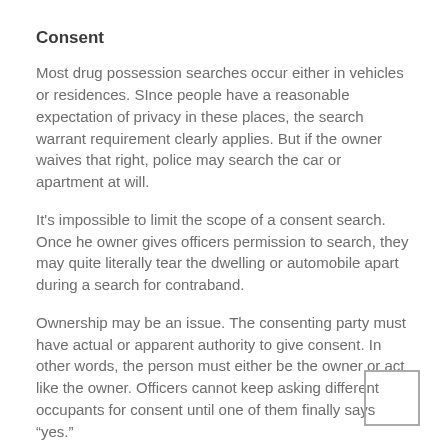Consent
Most drug possession searches occur either in vehicles or residences. SInce people have a reasonable expectation of privacy in these places, the search warrant requirement clearly applies. But if the owner waives that right, police may search the car or apartment at will.
It's impossible to limit the scope of a consent search. Once he owner gives officers permission to search, they may quite literally tear the dwelling or automobile apart during a search for contraband.
Ownership may be an issue. The consenting party must have actual or apparent authority to give consent. In other words, the person must either be the owner or act like the owner. Officers cannot keep asking different occupants for consent until one of them finally says “yes.”